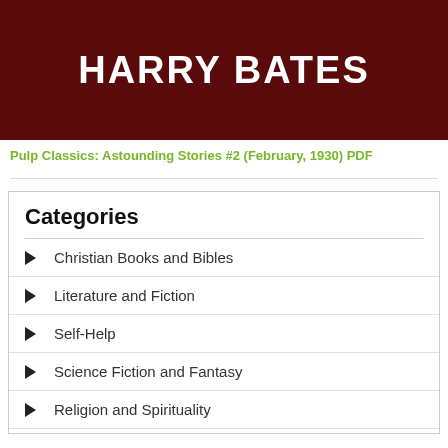[Figure (illustration): Dark maroon/red banner with bold white uppercase text reading HARRY BATES]
Pulp Classics: Astounding Stories #2 (February, 1930) PDF
Categories
Christian Books and Bibles
Literature and Fiction
Self-Help
Science Fiction and Fantasy
Religion and Spirituality